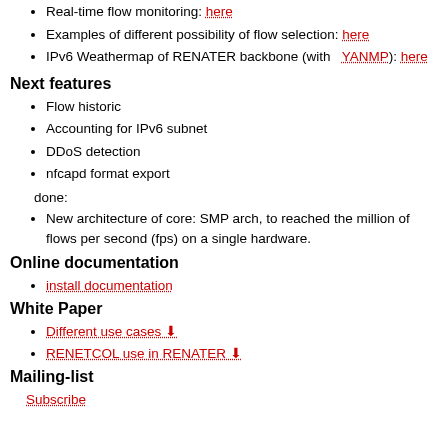Real-time flow monitoring: here
Examples of different possibility of flow selection: here
IPv6 Weathermap of RENATER backbone (with YANMP): here
Next features
Flow historic
Accounting for IPv6 subnet
DDoS detection
nfcapd format export
done:
New architecture of core: SMP arch, to reached the million of flows per second (fps) on a single hardware.
Online documentation
install documentation
White Paper
Different use cases
RENETCOL use in RENATER
Mailing-list
Subscribe